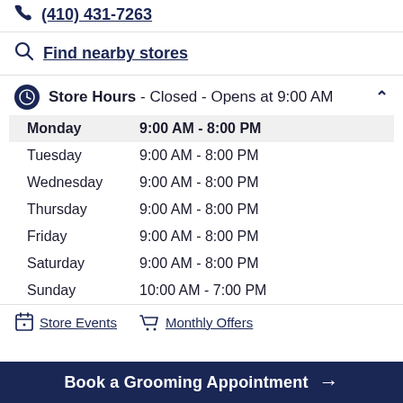(410) 431-7263
Find nearby stores
Store Hours - Closed - Opens at 9:00 AM
| Day | Hours |
| --- | --- |
| Monday | 9:00 AM - 8:00 PM |
| Tuesday | 9:00 AM - 8:00 PM |
| Wednesday | 9:00 AM - 8:00 PM |
| Thursday | 9:00 AM - 8:00 PM |
| Friday | 9:00 AM - 8:00 PM |
| Saturday | 9:00 AM - 8:00 PM |
| Sunday | 10:00 AM - 7:00 PM |
Store Events
Monthly Offers
Book a Grooming Appointment →